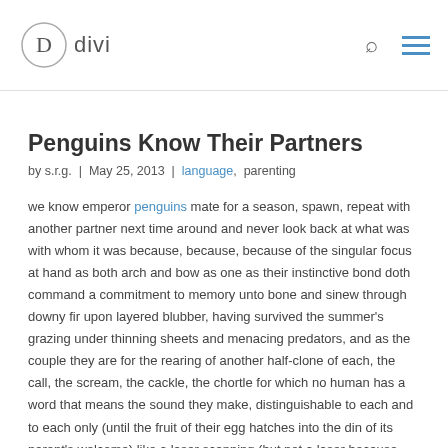divi
Penguins Know Their Partners
by s.r.g. | May 25, 2013 | language, parenting
we know emperor penguins mate for a season, spawn, repeat with another partner next time around and never look back at what was with whom it was because, because, because of the singular focus at hand as both arch and bow as one as their instinctive bond doth command a commitment to memory unto bone and sinew through downy fir upon layered blubber, having survived the summer's grazing under thinning sheets and menacing predators, and as the couple they are for the rearing of another half-clone of each, the call, the scream, the cackle, the chortle for which no human has a word that means the sound they make, distinguishable to each and to each only (until the fruit of their egg hatches into the din of its parent's welcome) like a laser scanning (but not a laser because that's visual) for the one-and-only barcode for which it abandons, indeed ignores all others in the huddled mass they join through darkest winter